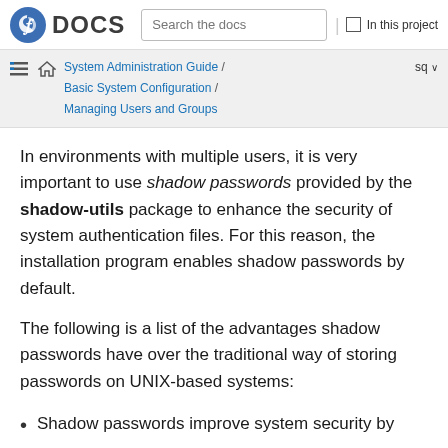Fedora DOCS | Search the docs | In this project
System Administration Guide / Basic System Configuration / Managing Users and Groups | sq
In environments with multiple users, it is very important to use shadow passwords provided by the shadow-utils package to enhance the security of system authentication files. For this reason, the installation program enables shadow passwords by default.
The following is a list of the advantages shadow passwords have over the traditional way of storing passwords on UNIX-based systems:
Shadow passwords improve system security by